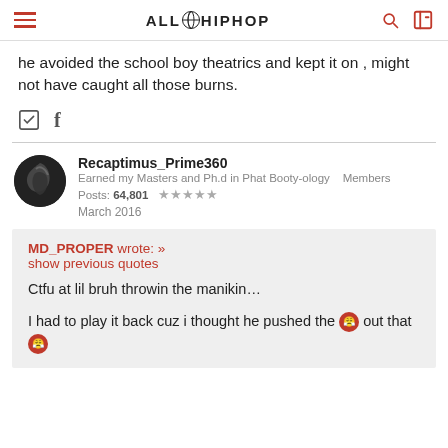ALL HIP HOP
he avoided the school boy theatrics and kept it on , might not have caught all those burns.
Recaptimus_Prime360
Earned my Masters and Ph.d in Phat Booty-ology   Members
Posts: 64,801  ★★★★★
March 2016
MD_PROPER wrote: »
show previous quotes

Ctfu at lil bruh throwin the manikin…

I had to play it back cuz i thought he pushed the 😡 out that 😡